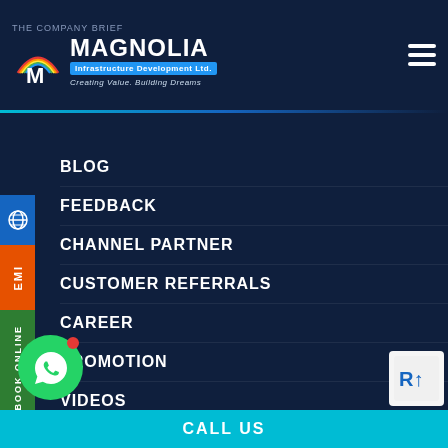[Figure (logo): Magnolia Infrastructure Development Ltd. logo with rainbow icon, blue badge and tagline 'Creating Value. Building Dreams']
BLOG
FEEDBACK
CHANNEL PARTNER
CUSTOMER REFERRALS
CAREER
PROMOTION
VIDEOS
TESTIMONIALS
CONTACT US
SITEMAP
PRIVACY POLICY
& CONDITION
N POLICY
CALL US